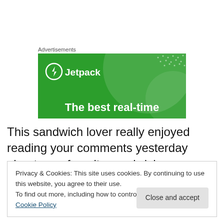Advertisements
[Figure (screenshot): Jetpack advertisement banner with green background, circular decorative elements, white dots pattern, Jetpack logo with lightning bolt icon, and text 'The best real-time']
This sandwich lover really enjoyed reading your comments yesterday about your favorite sandwiches. Seriously– I'm
Privacy & Cookies: This site uses cookies. By continuing to use this website, you agree to their use.
To find out more, including how to control cookies, see here: Cookie Policy
Close and accept